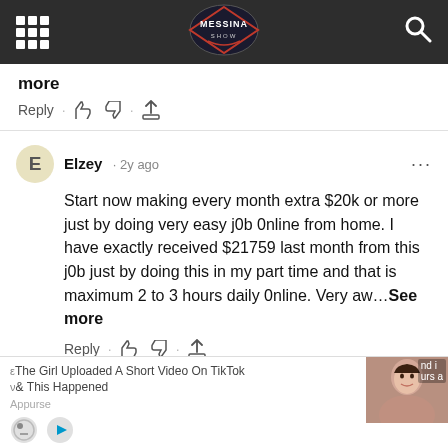[Figure (screenshot): Website navigation bar with grid/menu icon on left, Messina Show logo in center, search icon on right, dark background]
more
Reply · 👍 👎 · ⬆
Elzey · 2y ago
Start now making every month extra $20k or more just by doing very easy j0b 0nline from home. I have exactly received $21759 last month from this j0b just by doing this in my part time and that is maximum 2 to 3 hours daily 0nline. Very aw…See more
Reply · 👍 👎 · ⬆
Aliana2510 · 2y ago
I am now getting paid every month more than $18k by doing an easy j0b 0nline from home. I have earned
[Figure (screenshot): Ad overlay: The Girl Uploaded A Short Video On TikTok & This Happened, Appurse, with woman's face thumbnail and play button]